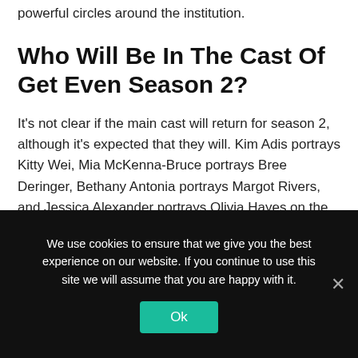powerful circles around the institution.
Who Will Be In The Cast Of Get Even Season 2?
It's not clear if the main cast will return for season 2, although it's expected that they will. Kim Adis portrays Kitty Wei, Mia McKenna-Bruce portrays Bree Deringer, Bethany Antonia portrays Margot Rivers, and Jessica Alexander portrays Olivia Hayes on the show.
We use cookies to ensure that we give you the best experience on our website. If you continue to use this site we will assume that you are happy with it.